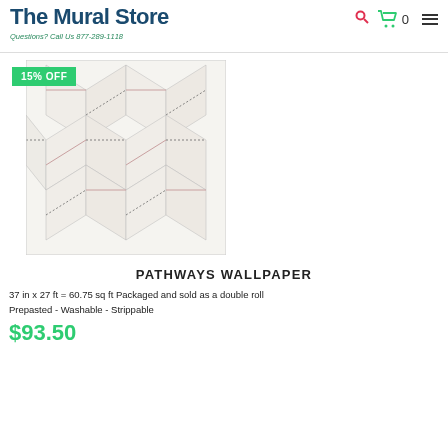The Mural Store — Questions? Call Us 877-289-1118
15% OFF
[Figure (photo): Pathways wallpaper product image showing a geometric diamond/rhombus pattern in off-white with thin pink and black lines forming a tessellating tile design.]
PATHWAYS WALLPAPER
37 in x 27 ft = 60.75 sq ft Packaged and sold as a double roll Prepasted - Washable - Strippable
$93.50